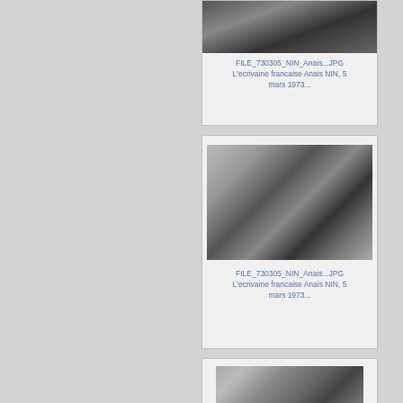[Figure (photo): Black and white photo partially visible at top of card, showing people at what appears to be a meeting or press conference]
FILE_730305_NIN_Anais...JPG L'ecrivaine francaise Anais NIN, 5 mars 1973...
[Figure (photo): Black and white photo of a woman (Anais NIN) seated, gesturing with her hand raised, in what appears to be an indoor setting with windows in background]
FILE_730305_NIN_Anais...JPG L'ecrivaine francaise Anais NIN, 5 mars 1973...
[Figure (photo): Black and white photo partially visible at bottom of page, showing people at what appears to be a meeting or press conference]